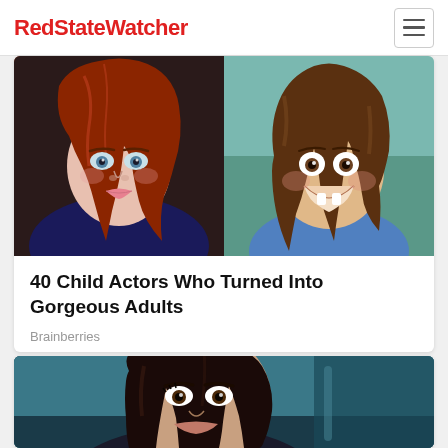RedStateWatcher
[Figure (photo): Two photos side by side: left shows a teenage girl with long red hair and blue eyes against a dark background; right shows a young smiling child with brown hair and missing front teeth wearing a blue outfit outdoors.]
40 Child Actors Who Turned Into Gorgeous Adults
Brainberries
[Figure (photo): A young woman with dark hair sitting in a car, teal/blue interior visible in the background, looking toward the camera.]